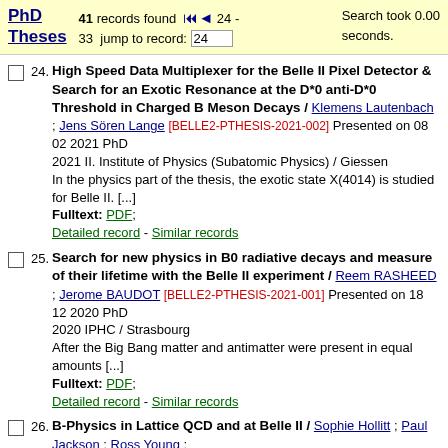PhD Theses — 41 records found, 24-33, jump to record: 24. Search took 0.00 seconds.
24. High Speed Data Multiplexer for the Belle II Pixel Detector & Search for an Exotic Resonance at the D*0 anti-D*0 Threshold in Charged B Meson Decays / Klemens Lautenbach ; Jens Sören Lange [BELLE2-PTHESIS-2021-002] Presented on 08 02 2021 PhD. 2021 II. Institute of Physics (Subatomic Physics) / Giessen. In the physics part of the thesis, the exotic state X(4014) is studied for Belle II. [...] Fulltext: PDF; Detailed record - Similar records
25. Search for new physics in B0 radiative decays and measure of their lifetime with the Belle II experiment / Reem RASHEED ; Jerome BAUDOT [BELLE2-PTHESIS-2021-001] Presented on 18 12 2020 PhD. 2020 IPHC / Strasbourg. After the Big Bang matter and antimatter were present in equal amounts [...] Fulltext: PDF; Detailed record - Similar records
26. B-Physics in Lattice QCD and at Belle II / Sophie Hollitt ; Paul Jackson ; Ross Young ;